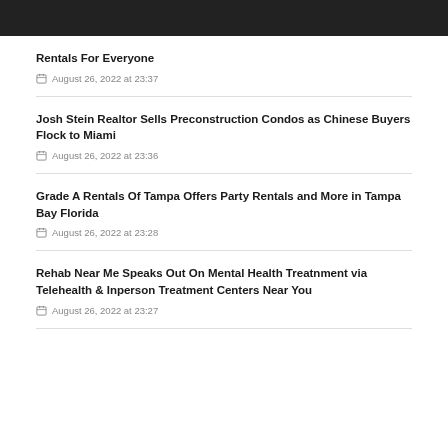Rentals For Everyone
August 26, 2022 at 23:37
Josh Stein Realtor Sells Preconstruction Condos as Chinese Buyers Flock to Miami
August 26, 2022 at 23:36
Grade A Rentals Of Tampa Offers Party Rentals and More in Tampa Bay Florida
August 26, 2022 at 23:28
Rehab Near Me Speaks Out On Mental Health Treatnment via Telehealth & Inperson Treatment Centers Near You
August 26, 2022 at 23:27